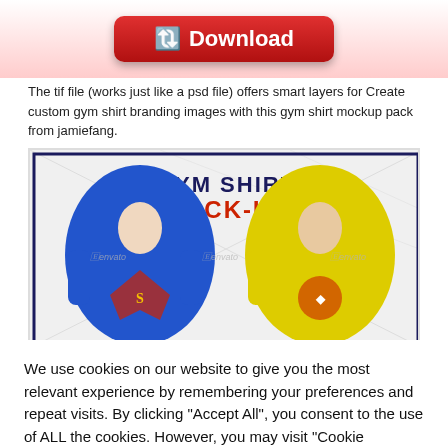[Figure (other): Red download button with arrow icon and 'Download' text]
The tif file (works just like a psd file) offers smart layers for Create custom gym shirt branding images with this gym shirt mockup pack from jamiefang.
[Figure (photo): Gym Shirt Mock-up product image showing two men wearing sleeveless gym shirts — one blue with superman logo, one yellow — with Envato watermarks and a dark navy border frame with the text 'GYM SHIRT MOCK-UP' in bold.]
We use cookies on our website to give you the most relevant experience by remembering your preferences and repeat visits. By clicking "Accept All", you consent to the use of ALL the cookies. However, you may visit "Cookie Settings" to provide a controlled consent.
Cookie Settings   Accept All